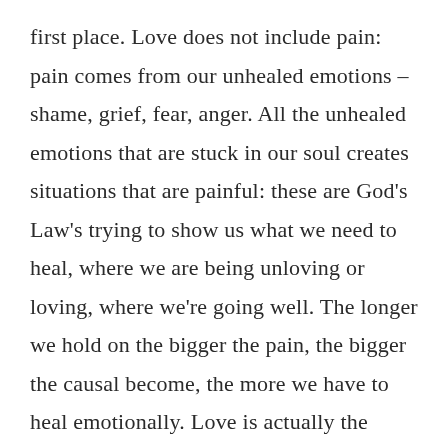first place. Love does not include pain: pain comes from our unhealed emotions – shame, grief, fear, anger. All the unhealed emotions that are stuck in our soul creates situations that are painful: these are God's Law's trying to show us what we need to heal, where we are being unloving or loving, where we're going well. The longer we hold on the bigger the pain, the bigger the causal become, the more we have to heal emotionally. Love is actually the remedy: loving ourselves enough to allow those feelings to be felt, loving